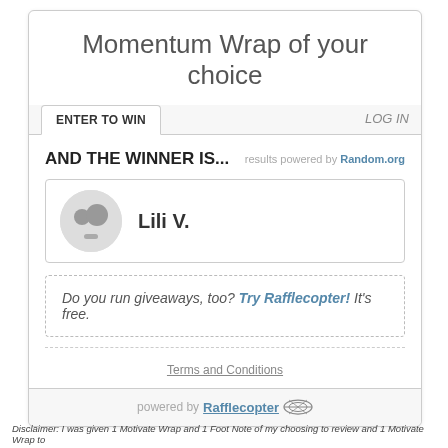Momentum Wrap of your choice
ENTER TO WIN
LOG IN
AND THE WINNER IS...
results powered by Random.org
Lili V.
Do you run giveaways, too? Try Rafflecopter! It's free.
Terms and Conditions
powered by Rafflecopter
Disclaimer: I was given 1 Motivate Wrap and 1 Foot Note of my choosing to review and 1 Motivate Wrap to